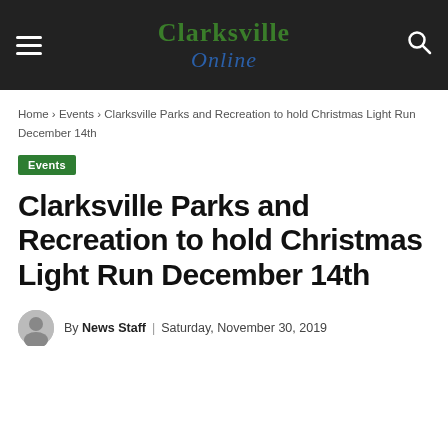Clarksville Online — navigation header with hamburger menu and search icon
Home › Events › Clarksville Parks and Recreation to hold Christmas Light Run December 14th
Events
Clarksville Parks and Recreation to hold Christmas Light Run December 14th
By News Staff   Saturday, November 30, 2019